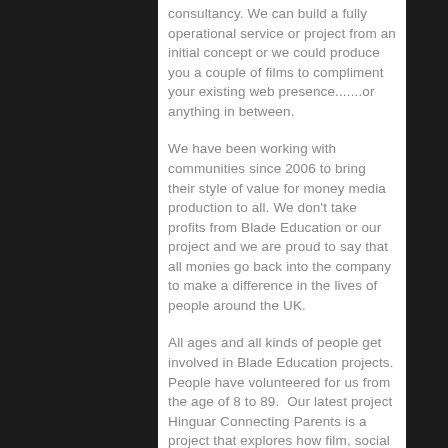consultancy. We can build a fully operational service or project from an initial concept or we could produce you a couple of films to compliment your existing web presence.......or anything in between.
We have been working with communities since 2006 to bring their style of value for money media production to all. We don't take profits from Blade Education or our project and we are proud to say that all monies go back into the company to make a difference in the lives of people around the UK.
All ages and all kinds of people get involved in Blade Education projects. People have volunteered for us from the age of 8 to 89. Our latest project Hinguar Connecting Parents is a project that explores how film, social media and advances in technology can support the whole school community to better communicate and is a partnership